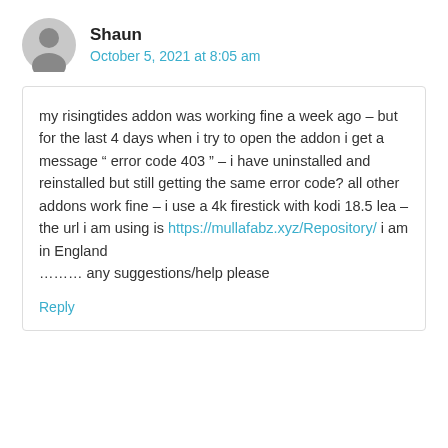Shaun
October 5, 2021 at 8:05 am
my risingtides addon was working fine a week ago – but for the last 4 days when i try to open the addon i get a message “ error code 403 ” – i have uninstalled and reinstalled but still getting the same error code? all other addons work fine – i use a 4k firestick with kodi 18.5 lea – the url i am using is https://mullafabz.xyz/Repository/ i am in England
……… any suggestions/help please
Reply